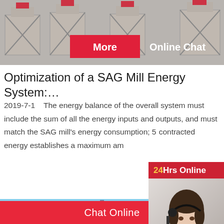[Figure (photo): Industrial silos/hoppers at a mining or cement facility, gray concrete structures with cross braces, with two overlaid buttons: 'More' (red background) and 'Online Chat' (white text)]
Optimization of a SAG Mill Energy System:…
2019-7-1    The energy balance of the overall system must include the sum of all the energy inputs and outputs, and must match the SAG mill's energy consumption; 5... contracted energy establishes a maximum am...
[Figure (photo): Industrial tower/mill structure against blue sky, partially obscured by sidebar widget]
[Figure (screenshot): Sidebar customer service widget: '24Hrs Online' header in red with yellow '24', photo of female customer service representative wearing headset, dark gray panel with 'Need questions & suggestion?' text, red rounded 'Chat Now' button]
Chat Online